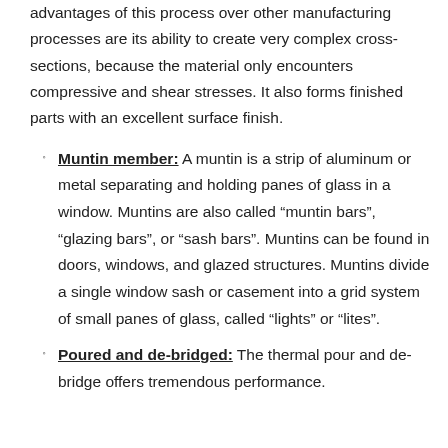advantages of this process over other manufacturing processes are its ability to create very complex cross-sections, because the material only encounters compressive and shear stresses. It also forms finished parts with an excellent surface finish.
Muntin member: A muntin is a strip of aluminum or metal separating and holding panes of glass in a window. Muntins are also called “muntin bars”, “glazed bars”, or “sash bars”. Muntins can be found in doors, windows, and glazed structures. Muntins divide a single window sash or casement into a grid system of small panes of glass, called “lights” or “lites”.
Poured and de-bridged: The thermal pour and de-bridge offers tremendous performance.